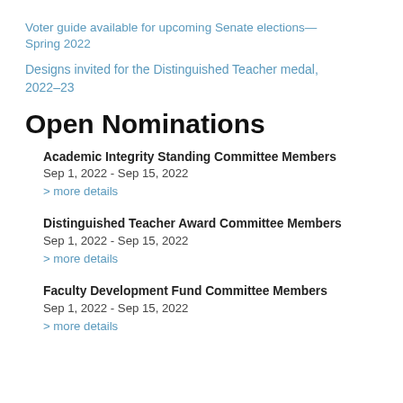Voter guide available for upcoming Senate elections—Spring 2022
Designs invited for the Distinguished Teacher medal, 2022–23
Open Nominations
Academic Integrity Standing Committee Members
Sep 1, 2022 - Sep 15, 2022
> more details
Distinguished Teacher Award Committee Members
Sep 1, 2022 - Sep 15, 2022
> more details
Faculty Development Fund Committee Members
Sep 1, 2022 - Sep 15, 2022
> more details